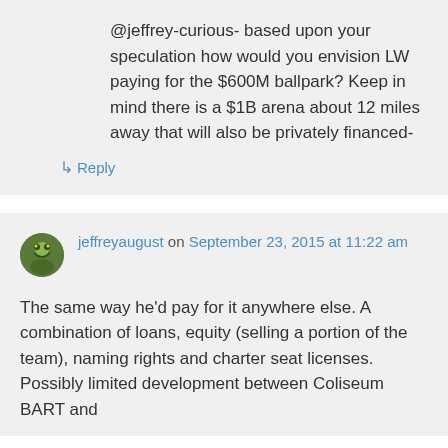@jeffrey-curious- based upon your speculation how would you envision LW paying for the $600M ballpark? Keep in mind there is a $1B arena about 12 miles away that will also be privately financed-
↳ Reply
jeffreyaugust on September 23, 2015 at 11:22 am
The same way he'd pay for it anywhere else. A combination of loans, equity (selling a portion of the team), naming rights and charter seat licenses. Possibly limited development between Coliseum BART and